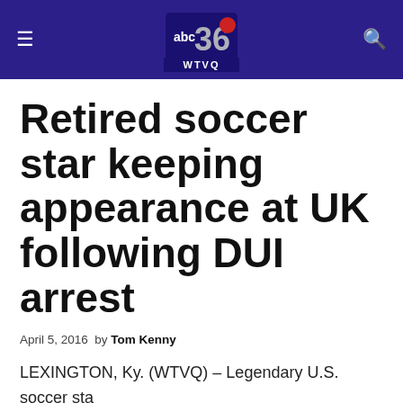ABC 36 WTVQ
Retired soccer star keeping appearance at UK following DUI arrest
April 5, 2016  by Tom Kenny
LEXINGTON, Ky. (WTVQ) – Legendary U.S. soccer star Abby Wambach is still expected at an event at the University of Kentucky on Tuesday, despite being arrested over the